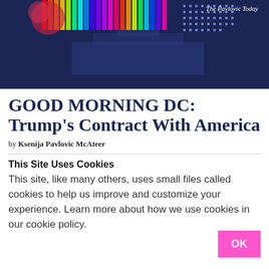[Figure (illustration): Colorful artistic illustration of the White House with rainbow colors and pixel art patterns against a dark navy blue background. The Pavlovic Today branding is visible in the top right corner.]
GOOD MORNING DC: Trump's Contract With America
by Ksenija Pavlovic McAteer
This Site Uses Cookies
This site, like many others, uses small files called cookies to help us improve and customize your experience. Learn more about how we use cookies in our cookie policy.